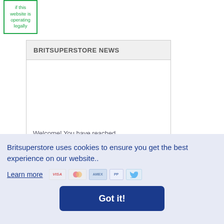[Figure (other): Green bordered badge box with text about website operating legally]
BRITSUPERSTORE NEWS
Welcome! You have reached www.britsuperstore.com, the home of
Britsuperstore uses cookies to ensure you get the best experience on our website..
Learn more
Got it!